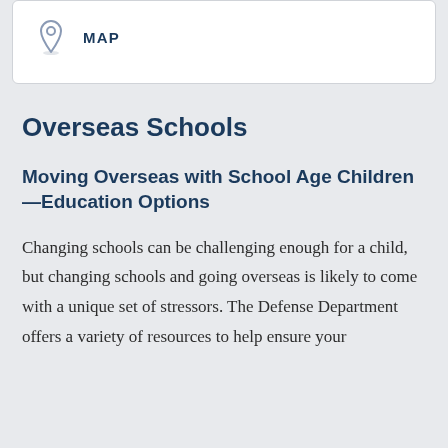[Figure (other): Map pin/location icon with the label MAP next to it, inside a white card]
Overseas Schools
Moving Overseas with School Age Children—Education Options
Changing schools can be challenging enough for a child, but changing schools and going overseas is likely to come with a unique set of stressors. The Defense Department offers a variety of resources to help ensure your